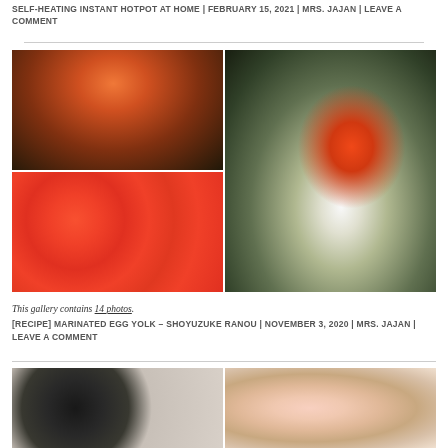SELF-HEATING INSTANT HOTPOT AT HOME | FEBRUARY 15, 2021 | MRS. JAJAN | LEAVE A COMMENT
[Figure (photo): Food photography collage: top-left shows kimchi fried rice held with red chopsticks over a bowl, bottom-left shows bright orange/red marinated egg yolks in a container, right side shows a bowl of rice topped with marinated egg yolk and seaweed seasoning held with red chopsticks]
This gallery contains 14 photos.
[RECIPE] MARINATED EGG YOLK – SHOYUZUKE RANOU | NOVEMBER 3, 2020 | MRS. JAJAN | LEAVE A COMMENT
[Figure (photo): Bottom food photography collage showing cooking equipment and ingredients, partial view]